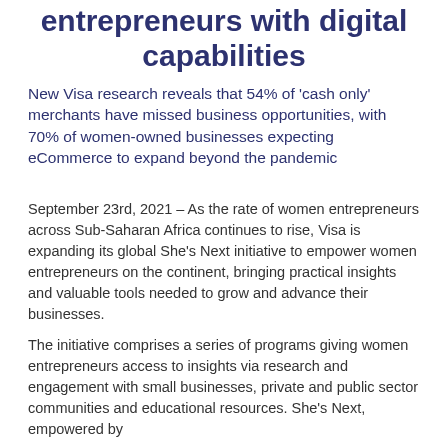entrepreneurs with digital capabilities
New Visa research reveals that 54% of 'cash only' merchants have missed business opportunities, with 70% of women-owned businesses expecting eCommerce to expand beyond the pandemic
September 23rd, 2021 – As the rate of women entrepreneurs across Sub-Saharan Africa continues to rise, Visa is expanding its global She's Next initiative to empower women entrepreneurs on the continent, bringing practical insights and valuable tools needed to grow and advance their businesses.
The initiative comprises a series of programs giving women entrepreneurs access to insights via research and engagement with small businesses, private and public sector communities and educational resources. She's Next, empowered by